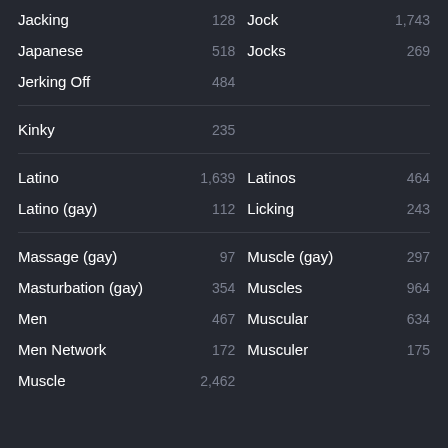| Term | Count | Term | Count |
| --- | --- | --- | --- |
| Jacking | 128 | Jock | 1,743 |
| Japanese | 518 | Jocks | 269 |
| Jerking Off | 484 |  |  |
| Kinky | 235 |  |  |
| Latino | 1,639 | Latinos | 464 |
| Latino (gay) | 112 | Licking | 243 |
| Massage (gay) | 97 | Muscle (gay) | 297 |
| Masturbation (gay) | 354 | Muscles | 964 |
| Men | 467 | Muscular | 634 |
| Men Network | 172 | Musculer | 175 |
| Muscle | 2,462 |  |  |